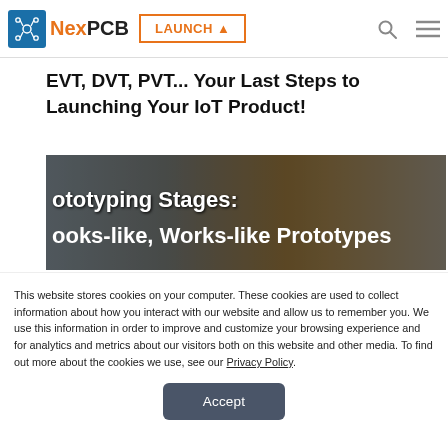NexPCB — LAUNCH
EVT, DVT, PVT... Your Last Steps to Launching Your IoT Product!
[Figure (photo): Article banner image showing prototyping hardware with overlaid white bold text reading 'ototyping Stages: ooks-like, Works-like Prototypes' on a dark semi-transparent background]
This website stores cookies on your computer. These cookies are used to collect information about how you interact with our website and allow us to remember you. We use this information in order to improve and customize your browsing experience and for analytics and metrics about our visitors both on this website and other media. To find out more about the cookies we use, see our Privacy Policy.
Accept